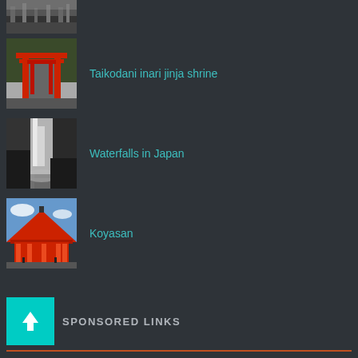[Figure (photo): Partial thumbnail of a Japanese scene (black and white, trees/landscape), cropped at top]
Taikodani inari jinja shrine
[Figure (photo): Red torii gates along a road in Japan, Taikodani inari jinja shrine]
Waterfalls in Japan
[Figure (photo): Black and white waterfall in Japan]
Koyasan
[Figure (photo): Red Japanese temple building at Koyasan under blue sky]
SPONSORED LINKS